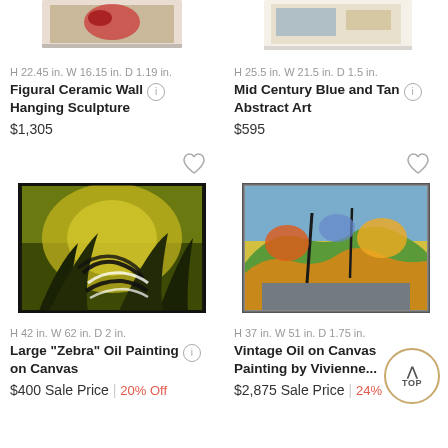[Figure (photo): Cropped top of a ceramic wall hanging sculpture artwork (partially visible)]
[Figure (photo): Cropped top of a mid century blue and tan abstract art piece (partially visible)]
H 22.45 in. W 16.15 in. D 1.19 in.
H 25.5 in. W 21.5 in. D 1.5 in.
Figural Ceramic Wall Hanging Sculpture
Mid Century Blue and Tan Abstract Art
$1,305
$595
[Figure (photo): Large Zebra Oil Painting on Canvas - dark yellow/green painting of a zebra in foliage]
[Figure (photo): Vintage Oil on Canvas Painting by Vivienne - colorful abstract landscape with bright yellows, greens, blues]
H 42 in. W 62 in. D 2 in.
H 37 in. W 51 in. D 1.75 in.
Large "Zebra" Oil Painting on Canvas
Vintage Oil on Canvas Painting by Vivienne...
$400 Sale Price | 20% Off
$2,875 Sale Price | 24%